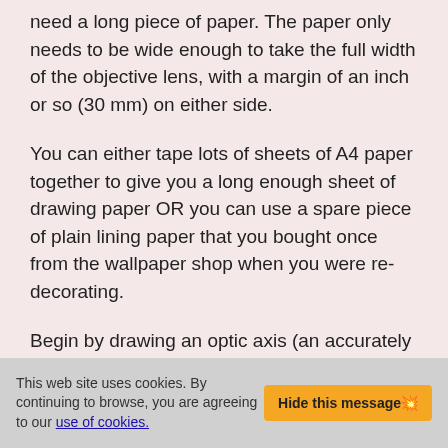need a long piece of paper. The paper only needs to be wide enough to take the full width of the objective lens, with a margin of an inch or so (30 mm) on either side.
You can either tape lots of sheets of A4 paper together to give you a long enough sheet of drawing paper OR you can use a spare piece of plain lining paper that you bought once from the wallpaper shop when you were re-decorating.
Begin by drawing an optic axis (an accurately straight line) along the mid line of the sheet of drawing paper, just as in fig. 2A and fig. 2B. All the lenses will lie symmetrically along this line.
This web site uses cookies. By continuing to browse, you are agreeing to our use of cookies.